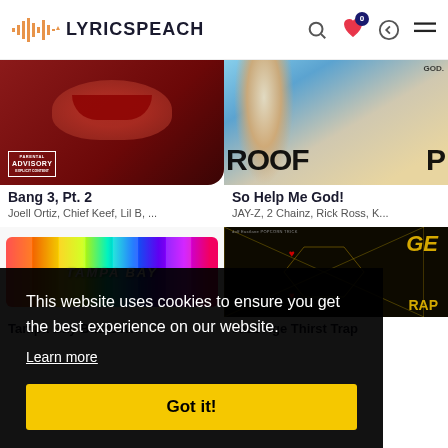LYRICSPEACH
[Figure (screenshot): Album cover for Bang 3, Pt. 2 - dark red/maroon background with lips, Parental Advisory label]
Bang 3, Pt. 2
Joell Ortiz, Chief Keef, Lil B, ...
[Figure (screenshot): Album cover for So Help Me God! - blue sky background with text PROOF P visible]
So Help Me God!
JAY-Z, 2 Chainz, Rick Ross, K...
[Figure (screenshot): Album cover for Tampa Bay Bustdown - rainbow striped background with bold white italic text]
Tampa Bay Bustdown
[Figure (screenshot): Album cover for Jazz Age Thirst Trap - dark gold art deco design with GE and RAP text]
Jazz Age Thirst Trap
This website uses cookies to ensure you get the best experience on our website.
Learn more
Got it!